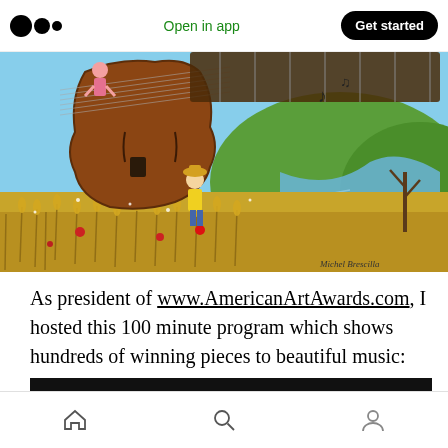Open in app | Get started
[Figure (illustration): Colorful folk art painting featuring a large violin body used as a house in a wheat field, with figures playing music and a river landscape in the background.]
As president of www.AmericanArtAwards.com, I hosted this 100 minute program which shows hundreds of winning pieces to beautiful music:
[Figure (screenshot): Dark video thumbnail with YouTube icon and partial title text 'WORLD'S BEST ART 2022 AMER...']
Home | Search | Profile